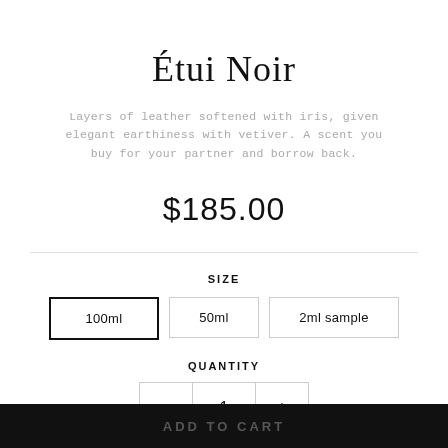Étui Noir
Layers of leather softened with iris, given elegant earthiness with vetiver. A scent you buy for your partner and borrow back.
$185.00
SIZE
100ml
50ml
2ml sample
QUANTITY
−  1  +
ADD TO CART